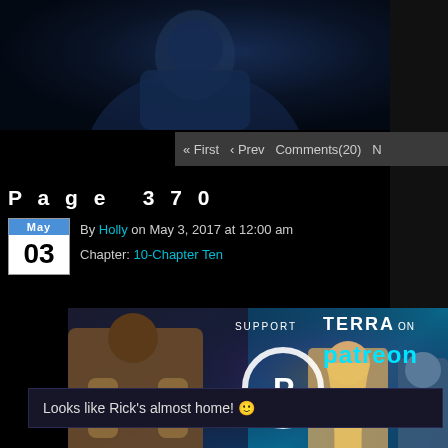[Figure (illustration): Comic page illustration showing a figure in blue tones against a dark background]
« First  ‹ Prev  Comments(20)  N
Page 370
By Holly on May 3, 2017 at 12:00 am
Chapter: 10-Chapter Ten
[Figure (illustration): Patreon banner showing comic characters and text: SUPPORT TERRA ON patreon]
Looks like Rick's almost home! 🙂